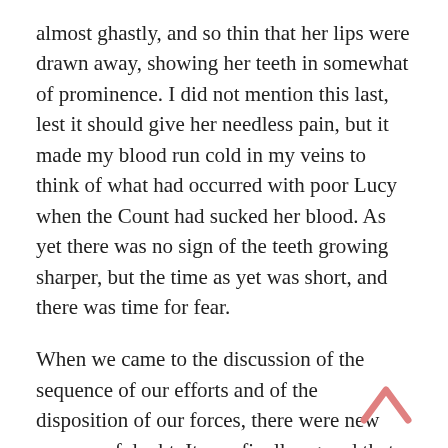almost ghastly, and so thin that her lips were drawn away, showing her teeth in somewhat of prominence. I did not mention this last, lest it should give her needless pain, but it made my blood run cold in my veins to think of what had occurred with poor Lucy when the Count had sucked her blood. As yet there was no sign of the teeth growing sharper, but the time as yet was short, and there was time for fear.
When we came to the discussion of the sequence of our efforts and of the disposition of our forces, there were new sources of doubt. It was finally agreed that before starting for Piccadilly we should destroy the Count's lair close at hand. In case he should find it out too soon, we should thus be still ahead of him in our work of destruction. And his presence in his purely